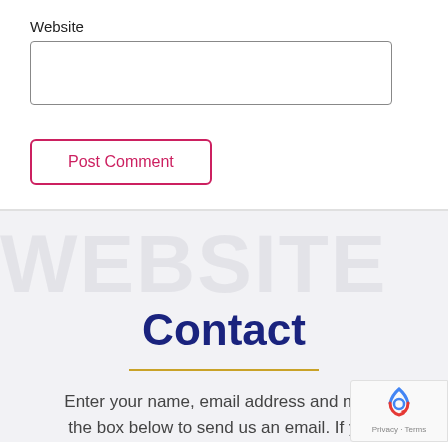Website
[Figure (other): Empty text input box for Website field]
Post Comment
Contact
Enter your name, email address and mess the box below to send us an email. If you'